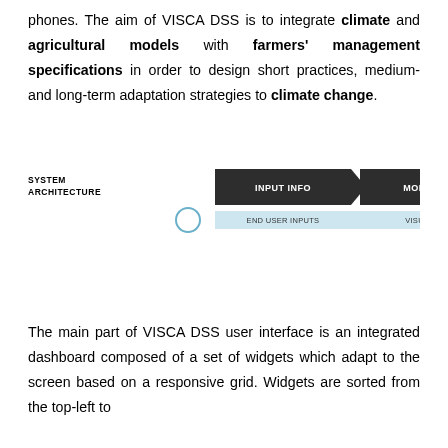phones. The aim of VISCA DSS is to integrate climate and agricultural models with farmers' management specifications in order to design short practices, medium- and long-term adaptation strategies to climate change.
[Figure (flowchart): System architecture diagram showing three chevron/arrow shapes labeled INPUT INFO, MONITORING, and FEEDBACKS, with a SYSTEM ARCHITECTURE label on the left and a partial row below showing END USER INPUTS, VISUALIZATION, and FIELD.]
The main part of VISCA DSS user interface is an integrated dashboard composed of a set of widgets which adapt to the screen based on a responsive grid. Widgets are sorted from the top-left to